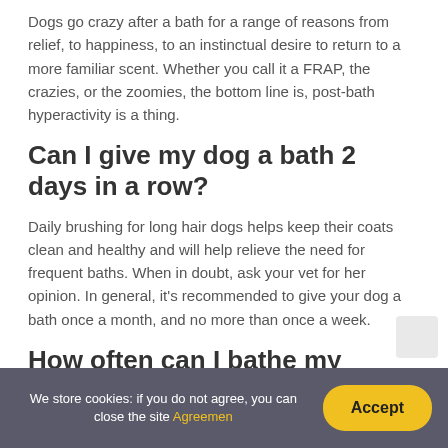Dogs go crazy after a bath for a range of reasons from relief, to happiness, to an instinctual desire to return to a more familiar scent. Whether you call it a FRAP, the crazies, or the zoomies, the bottom line is, post-bath hyperactivity is a thing.
Can I give my dog a bath 2 days in a row?
Daily brushing for long hair dogs helps keep their coats clean and healthy and will help relieve the need for frequent baths. When in doubt, ask your vet for her opinion. In general, it's recommended to give your dog a bath once a month, and no more than once a week.
How often can I bathe my cockapoo?
We store cookies: if you do not agree, you can close the site Agreemen